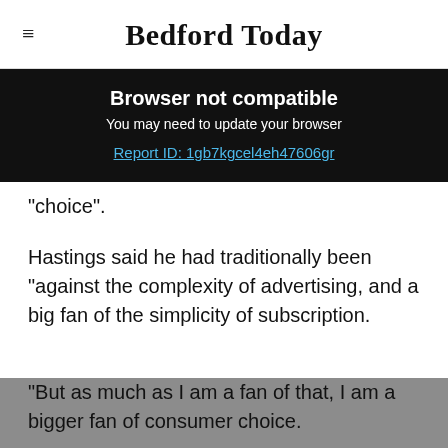Bedford Today
Browser not compatible
You may need to update your browser
Report ID: 1gb7kgcel4eh47606gr
"choice".
Hastings said he had traditionally been "against the complexity of advertising, and a big fan of the simplicity of subscription.
"But as much as I am a fan of that, I am a bigger fan of consumer choice.